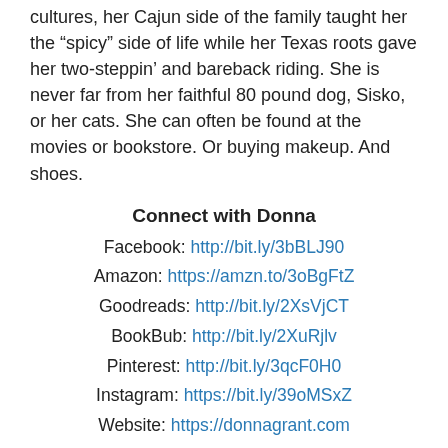cultures, her Cajun side of the family taught her the “spicy” side of life while her Texas roots gave her two-steppin’ and bareback riding. She is never far from her faithful 80 pound dog, Sisko, or her cats. She can often be found at the movies or bookstore. Or buying makeup. And shoes.
Connect with Donna
Facebook: http://bit.ly/3bBLJ90
Amazon: https://amzn.to/3oBgFtZ
Goodreads: http://bit.ly/2XsVjCT
BookBub: http://bit.ly/2XuRjlv
Pinterest: http://bit.ly/3qcF0H0
Instagram: https://bit.ly/39oMSxZ
Website: https://donnagrant.com
For More information about 1,001 Dark Nights Visit:
Facebook: https://bit.ly/37fl0uT